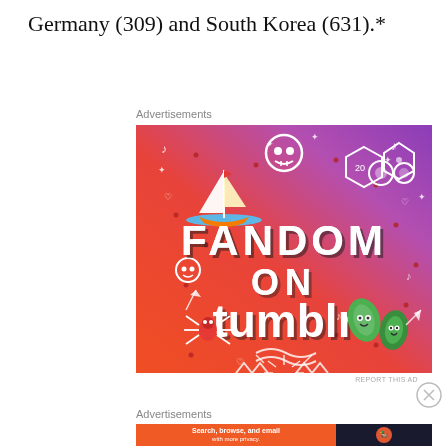Germany (309) and South Korea (631).*
[Figure (illustration): Tumblr advertisement banner with colorful gradient background (orange to purple), featuring the text 'FANDOM ON tumblr' in bold letters, surrounded by various doodle icons including a sailboat, skull, dice, spider, leaf characters, arrows, musical notes, and other decorative elements.]
REPORT THIS AD
[Figure (illustration): DuckDuckGo advertisement banner with orange background featuring text 'Search, browse, and email with more privacy. All in One Free App' alongside the DuckDuckGo logo on dark background.]
REPORT THIS AD